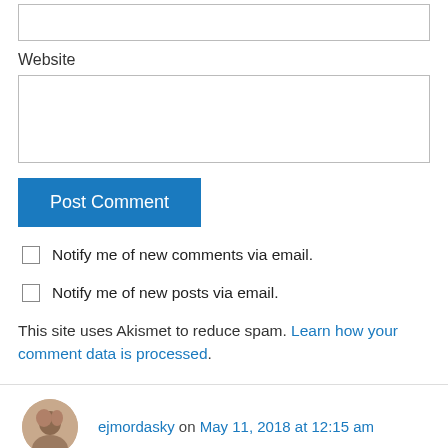Website
Post Comment
Notify me of new comments via email.
Notify me of new posts via email.
This site uses Akismet to reduce spam. Learn how your comment data is processed.
ejmordasky on May 11, 2018 at 12:15 am